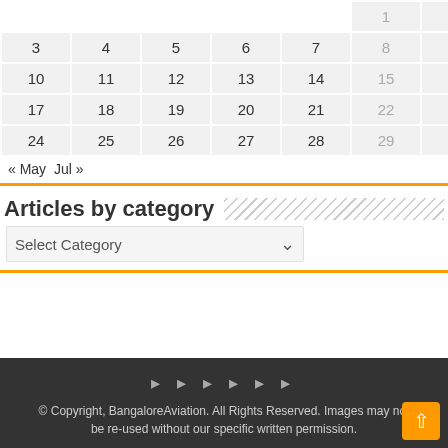| Sun | Mon | Tue | Wed | Thu | Fri | Sat |
| --- | --- | --- | --- | --- | --- | --- |
|  |  |  |  |  | 1 | 2 |
| 3 | 4 | 5 | 6 | 7 | 8 | 9 |
| 10 | 11 | 12 | 13 | 14 | 15 | 16 |
| 17 | 18 | 19 | 20 | 21 | 22 | 23 |
| 24 | 25 | 26 | 27 | 28 | 29 | 30 |
« May   Jul »
Articles by category
Select Category
© Copyright, BangaloreAviation. All Rights Reserved. Images may not be re-used without our specific written permission.